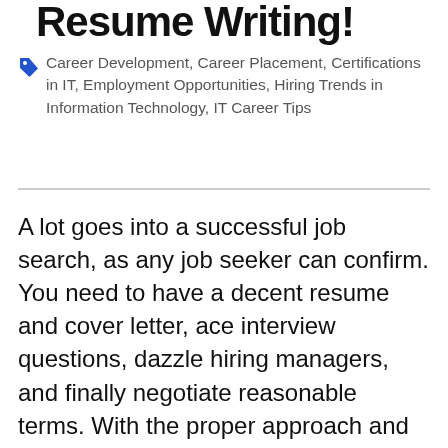Resume Writing!
Career Development, Career Placement, Certifications in IT, Employment Opportunities, Hiring Trends in Information Technology, IT Career Tips
A lot goes into a successful job search, as any job seeker can confirm. You need to have a decent resume and cover letter, ace interview questions, dazzle hiring managers, and finally negotiate reasonable terms. With the proper approach and training, all of these are doable. However, everything rides on your resume inspiring confidence in employers to consider you for the position. Resumes and cover letters are the first things to hit an employer's desk (or screen) when you respond to a